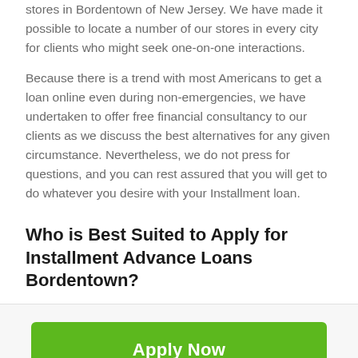stores in Bordentown of New Jersey. We have made it possible to locate a number of our stores in every city for clients who might seek one-on-one interactions.
Because there is a trend with most Americans to get a loan online even during non-emergencies, we have undertaken to offer free financial consultancy to our clients as we discuss the best alternatives for any given circumstance. Nevertheless, we do not press for questions, and you can rest assured that you will get to do whatever you desire with your Installment loan.
Who is Best Suited to Apply for Installment Advance Loans Bordentown?
[Figure (other): Dark grey scroll-to-top button with upward arrow, positioned at top right of section header area]
Apply Now
Applying does NOT affect your credit score!
No credit check to apply.